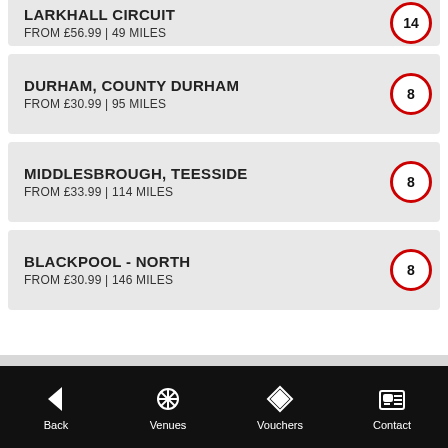LARKHALL CIRCUIT — FROM £56.99 | 49 MILES — badge: 14
DURHAM, COUNTY DURHAM — FROM £30.99 | 95 MILES — badge: 8
MIDDLESBROUGH, TEESSIDE — FROM £33.99 | 114 MILES — badge: 8
BLACKPOOL - NORTH — FROM £30.99 | 146 MILES — badge: 8
Back | Venues | Vouchers | Contact